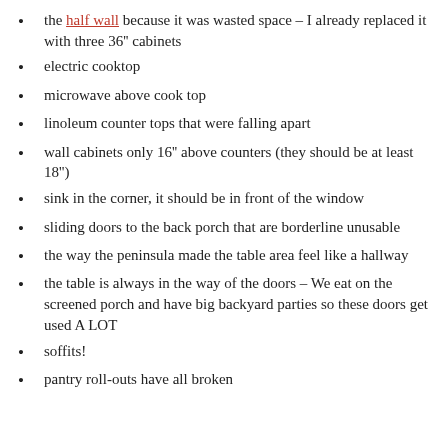the half wall because it was wasted space – I already replaced it with three 36" cabinets
electric cooktop
microwave above cook top
linoleum counter tops that were falling apart
wall cabinets only 16" above counters (they should be at least 18")
sink in the corner, it should be in front of the window
sliding doors to the back porch that are borderline unusable
the way the peninsula made the table area feel like a hallway
the table is always in the way of the doors – We eat on the screened porch and have big backyard parties so these doors get used A LOT
soffits!
pantry roll-outs have all broken